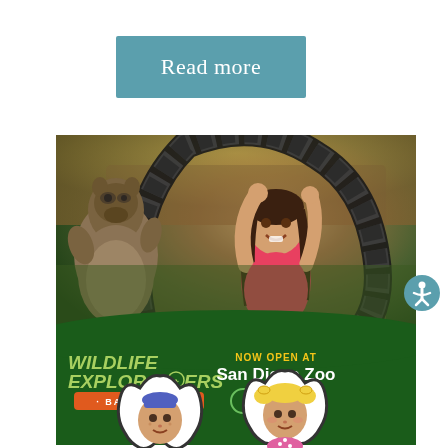Read more
[Figure (photo): Wildlife Explorers Basecamp advertisement showing a girl in pink shirt interacting with a large metal hoop structure and a coati/raccoon-like animal on the left. Green banner at bottom reads 'WILDLIFE EXPLORERS BASECAMP - NOW OPEN AT San Diego Zoo - Visit']
[Figure (illustration): Cartoon tooth characters - two tooth-shaped figures with cartoon children faces, one boy with a blue hat and one girl with blonde pigtails in a pink polka-dot dress]